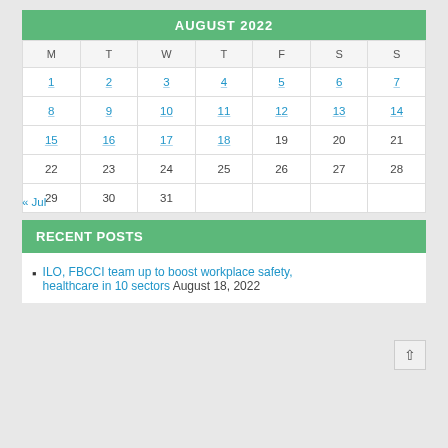| M | T | W | T | F | S | S |
| --- | --- | --- | --- | --- | --- | --- |
| 1 | 2 | 3 | 4 | 5 | 6 | 7 |
| 8 | 9 | 10 | 11 | 12 | 13 | 14 |
| 15 | 16 | 17 | 18 | 19 | 20 | 21 |
| 22 | 23 | 24 | 25 | 26 | 27 | 28 |
| 29 | 30 | 31 |  |  |  |  |
« Jul
RECENT POSTS
ILO, FBCCI team up to boost workplace safety, healthcare in 10 sectors August 18, 2022